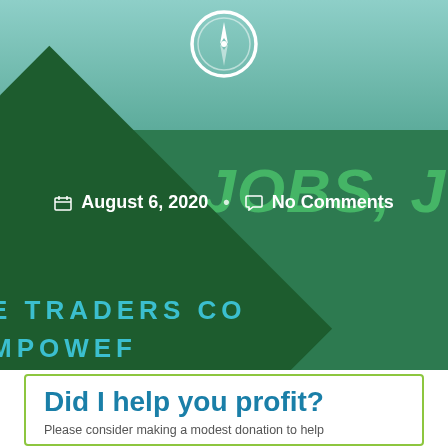[Figure (illustration): Hero banner with compass icon, green gradient background, JOBS JOBS JOBS repeating text, dark green diamond shape with 'TRADERS CO' and 'EMPOWER' text in teal, and date/comment metadata bar]
August 6, 2020   No Comments
Did I help you profit?
Please consider making a modest donation to help